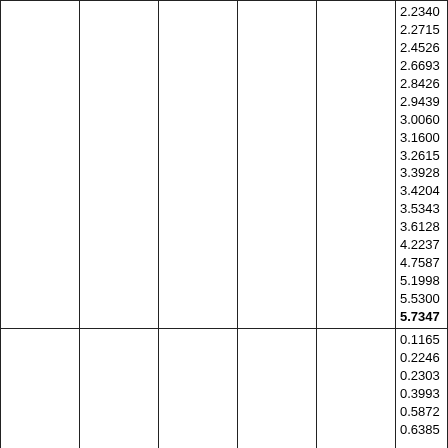|  |  |  |  |  | 2.2340
2.2715
2.4526
2.6693
2.8426
2.9439
3.0060
3.1600
3.2615
3.3928
3.4204
3.5343
3.6128
4.2237
4.7587
5.1998
5.5300
5.7347 |
|  |  |  |  |  | 0.1165
0.2246
0.2303
0.3993
0.5872
0.6385 |